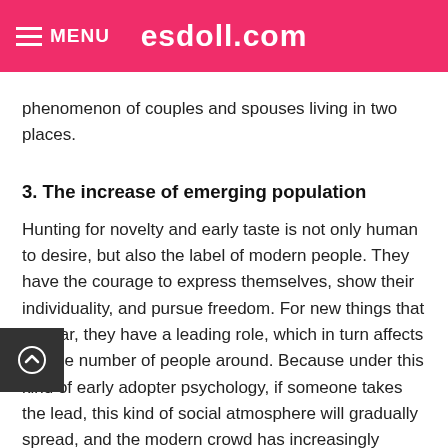MENU   esdoll.com
phenomenon of couples and spouses living in two places.
3. The increase of emerging population
Hunting for novelty and early taste is not only human to desire, but also the label of modern people. They have the courage to express themselves, show their individuality, and pursue freedom. For new things that appear, they have a leading role, which in turn affects a large number of people around. Because under this kind of early adopter psychology, if someone takes the lead, this kind of social atmosphere will gradually spread, and the modern crowd has increasingly become the main consumer of the market, which is bound to form a huge market impulse.